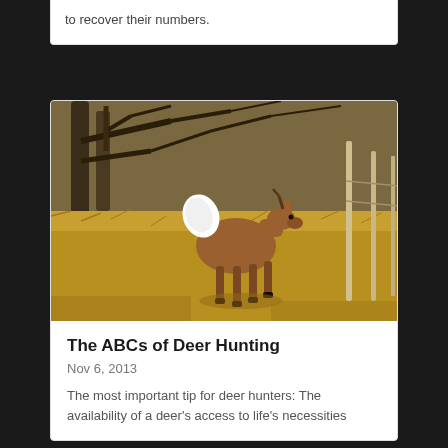to recover their numbers.
[Figure (photo): A white-tailed deer with its tail raised, standing in a dry grass field with bare tree branches in the background.]
The ABCs of Deer Hunting
Nov 6, 2013
The most important tip for deer hunters: The availability of a deer's access to life's necessities